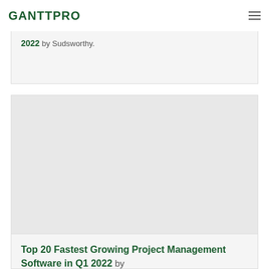GANTTPRO
2022 by Sudsworthy.
Top 20 Fastest Growing Project Management Software in Q1 2022 by